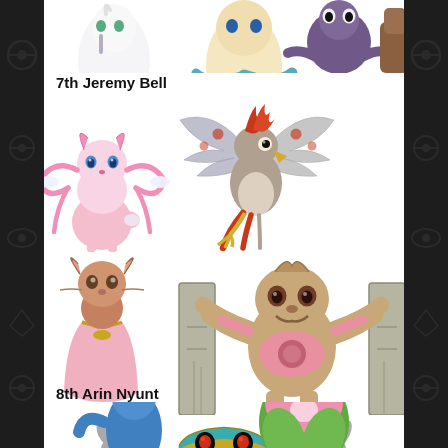[Figure (illustration): Top row of Pokemon sprites partially cut off at top of page: a white dress-like Pokemon (Gardevoir), a cream/blue serpent Pokemon (Primarina), a purple/dark Pokemon (Haunter-like), and a brown four-legged Pokemon (Mudsdale) on dark side background]
7th Jeremy Bell
[Figure (illustration): Two Pokemon sprites: Sylveon (pink fairy-type fox with ribbon feelers) on the left and Talonflame or Pidgeot (large bird with red/orange and grey wings spread wide) in the center]
[Figure (illustration): Two Pokemon sprites: Lopunny or Audino (brown mouse/rabbit in pink dress) on the left, and Conkeldurr (large brown humanoid Pokemon holding stone pillars) in the center]
[Figure (illustration): One Pokemon sprite: Cofagrigus (gold and blue sarcophagus Pokemon with ghostly shadow hands spread out)]
8th Arin Nyunt
[Figure (illustration): Bottom row partially cut off: a blue dragon-type Pokemon (Kingdra or Dragonair) on the left and a pink/green flower Pokemon (Comfey or Lilligant) on the right]